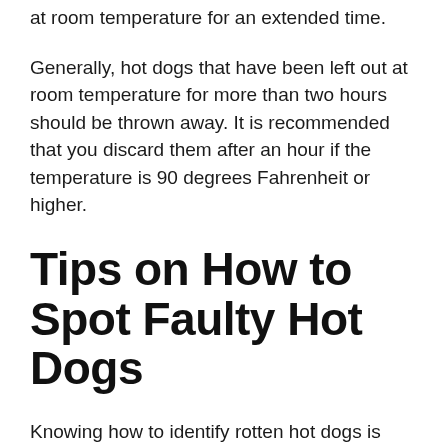at room temperature for an extended time.
Generally, hot dogs that have been left out at room temperature for more than two hours should be thrown away. It is recommended that you discard them after an hour if the temperature is 90 degrees Fahrenheit or higher.
Tips on How to Spot Faulty Hot Dogs
Knowing how to identify rotten hot dogs is crucial because they can make you very sick if eaten.